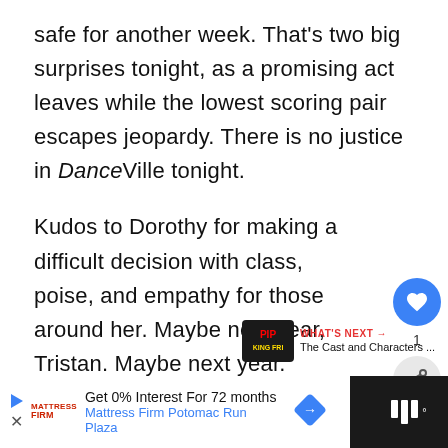safe for another week. That's two big surprises tonight, as a promising act leaves while the lowest scoring pair escapes jeopardy. There is no justice in DanceVille tonight.
Kudos to Dorothy for making a difficult decision with class, poise, and empathy for those around her. Maybe next year, Tristan. Maybe next year.
[Figure (other): Heart/like button (blue circle with heart icon) and share button (gray circle with share icon), with count label '1']
[Figure (other): What's Next promotional widget showing PIP KING FRI logo and text 'WHAT'S NEXT → The Cast and Characters ...']
[Figure (other): Advertisement bar: Mattress Firm ad with 'Get 0% Interest For 72 months' and 'Mattress Firm Potomac Run Plaza', with blue diamond arrow icon. Right side shows dark background with Tubi-style bars icon.]